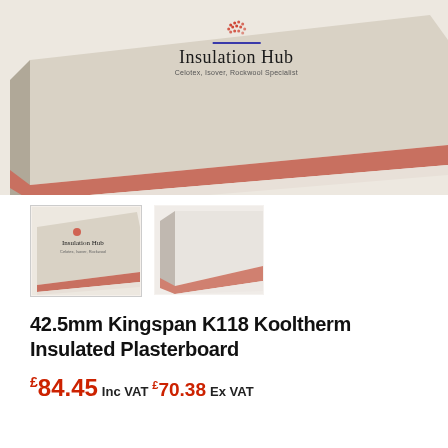[Figure (photo): Main product photo of Kingspan K118 Kooltherm insulated plasterboard showing the corner of the board with pink insulation foam and grey plasterboard facing, with Insulation Hub logo overlay]
[Figure (photo): Thumbnail 1: small version of the main product photo showing board corner with Insulation Hub logo]
[Figure (photo): Thumbnail 2: close-up of board corner showing pink foam insulation and white plasterboard layers]
42.5mm Kingspan K118 Kooltherm Insulated Plasterboard
£84.45 Inc VAT £70.38 Ex VAT
| Property | Value |
| --- | --- |
| Overall thickness | 42.5mm |
| Insulation thickness | 30mm |